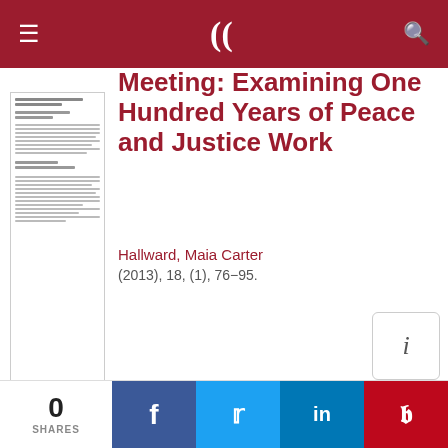Navigation bar with menu, logo, and search icons
[Figure (screenshot): Thumbnail preview of a document page with dense text lines]
Meeting: Examining One Hundred Years of Peace and Justice Work
Hallward, Maia Carter
(2013), 18, (1), 76−95.
No Lasting Peace? Labor, Communism and the Cominform: Australia and Great Britain, 1945-50
0 SHARES  f  t  in  P